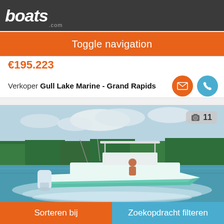boats.com
Toggle navigation
€195.223
Verkoper Gull Lake Marine - Grand Rapids
[Figure (photo): A white and teal center-console motorboat speeding across calm water with trees in the background. Photo badge shows camera icon and number 11.]
Sorteren bij
Zoekopdracht filteren